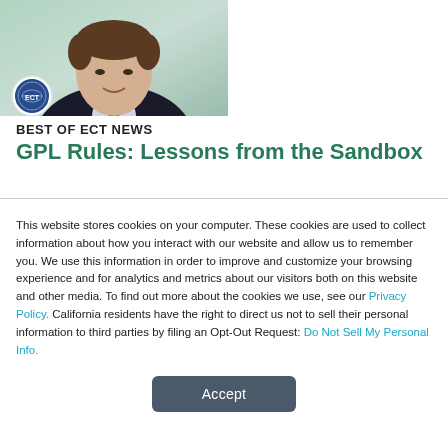[Figure (photo): Headshot of a man in a dark suit with red tie, ECT News logo overlay in bottom-left corner, green-tinted background]
BEST OF ECT NEWS
GPL Rules: Lessons from the Sandbox
This website stores cookies on your computer. These cookies are used to collect information about how you interact with our website and allow us to remember you. We use this information in order to improve and customize your browsing experience and for analytics and metrics about our visitors both on this website and other media. To find out more about the cookies we use, see our Privacy Policy. California residents have the right to direct us not to sell their personal information to third parties by filing an Opt-Out Request: Do Not Sell My Personal Info.
Accept